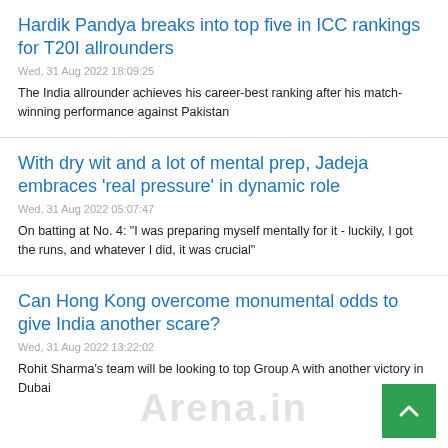Hardik Pandya breaks into top five in ICC rankings for T20I allrounders
Wed, 31 Aug 2022 18:09:25
The India allrounder achieves his career-best ranking after his match-winning performance against Pakistan
With dry wit and a lot of mental prep, Jadeja embraces 'real pressure' in dynamic role
Wed, 31 Aug 2022 05:07:47
On batting at No. 4: "I was preparing myself mentally for it - luckily, I got the runs, and whatever I did, it was crucial"
Can Hong Kong overcome monumental odds to give India another scare?
Wed, 31 Aug 2022 13:22:02
Rohit Sharma's team will be looking to top Group A with another victory in Dubai